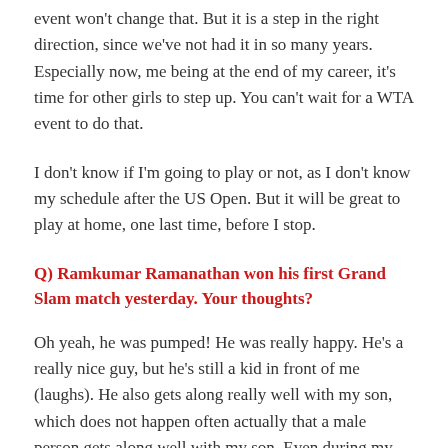event won't change that. But it is a step in the right direction, since we've not had it in so many years. Especially now, me being at the end of my career, it's time for other girls to step up. You can't wait for a WTA event to do that.
I don't know if I'm going to play or not, as I don't know my schedule after the US Open. But it will be great to play at home, one last time, before I stop.
Q) Ramkumar Ramanathan won his first Grand Slam match yesterday. Your thoughts?
Oh yeah, he was pumped! He was really happy. He's a really nice guy, but he's still a kid in front of me (laughs). He also gets along really well with my son, which does not happen often actually that a male person gets along well with my son. Even during my match yesterday, Izhaan (Sanja's son) says